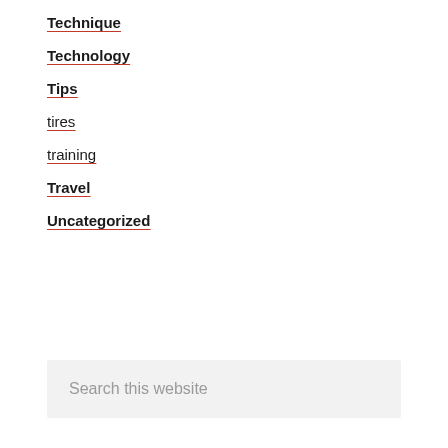Technique
Technology
Tips
tires
training
Travel
Uncategorized
Search this website